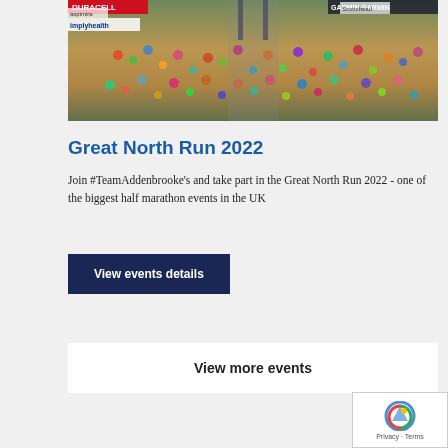[Figure (photo): Aerial view of a large crowd of runners at the start of the Great North Run 2022, with sponsor banners including Duracell, Garmin, Simplyhealth visible along the top]
Great North Run 2022
Join #TeamAddenbrooke's and take part in the Great North Run 2022 - one of the biggest half marathon events in the UK
View events details
View more events